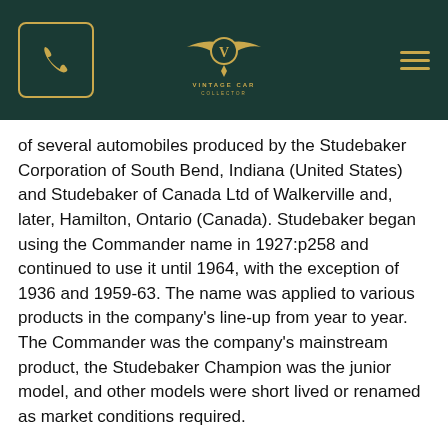Vintage Car Collector
of several automobiles produced by the Studebaker Corporation of South Bend, Indiana (United States) and Studebaker of Canada Ltd of Walkerville and, later, Hamilton, Ontario (Canada). Studebaker began using the Commander name in 1927:p258 and continued to use it until 1964, with the exception of 1936 and 1959-63. The name was applied to various products in the company's line-up from year to year. The Commander was the company's mainstream product, the Studebaker Champion was the junior model, and other models were short lived or renamed as market conditions required.
1920s
Until the occurrence of the Studebaker President i